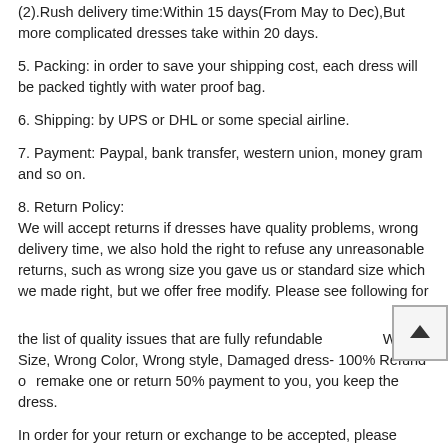(2).Rush delivery time:Within 15 days(From May to Dec),But more complicated dresses take within 20 days.
5. Packing: in order to save your shipping cost, each dress will be packed tightly with water proof bag.
6. Shipping: by UPS or DHL or some special airline.
7. Payment: Paypal, bank transfer, western union, money gram and so on.
8. Return Policy:
We will accept returns if dresses have quality problems, wrong delivery time, we also hold the right to refuse any unreasonable returns, such as wrong size you gave us or standard size which we made right, but we offer free modify. Please see following for the list of quality issues that are fully refundable Wrong Size, Wrong Color, Wrong style, Damaged dress- 100% Refund or remake one or return 50% payment to you, you keep the dress.
In order for your return or exchange to be accepted, please carefully follow our guide:
(1). Contact us within 2 days of receiving the dress (please let us know if you have some exceptional case in advance)
(2). Provide us with photos of the dress, to show evidence of damage or bad